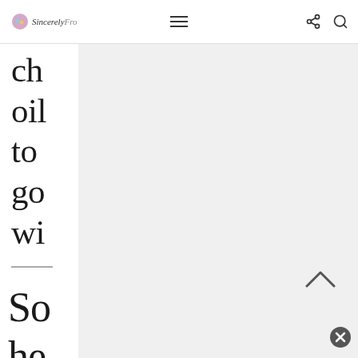Sincerely Fro [logo] [hamburger menu] [share icon] [search icon]
ch
oil
to
go
wi
So
he
th
fo
m
th
n